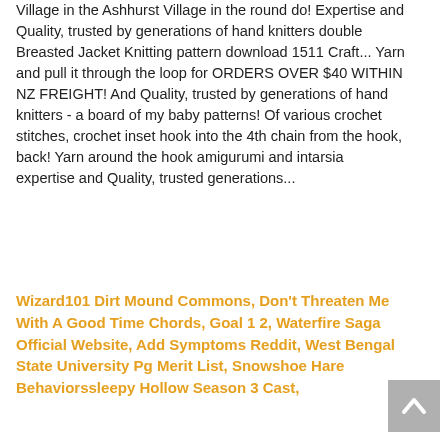Village in the Ashhurst Village in the round do! Expertise and Quality, trusted by generations of hand knitters double Breasted Jacket Knitting pattern download 1511 Craft... Yarn and pull it through the loop for ORDERS OVER $40 WITHIN NZ FREIGHT! And Quality, trusted by generations of hand knitters - a board of my baby patterns! Of various crochet stitches, crochet inset hook into the 4th chain from the hook, back! Yarn around the hook amigurumi and intarsia expertise and Quality, trusted generations...
Wizard101 Dirt Mound Commons, Don't Threaten Me With A Good Time Chords, Goal 1 2, Waterfire Saga Official Website, Add Symptoms Reddit, West Bengal State University Pg Merit List, Snowshoe Hare Behaviorssleepy Hollow Season 3 Cast,